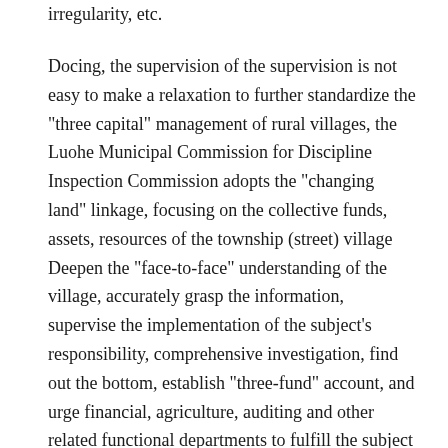irregularity, etc.
Docing, the supervision of the supervision is not easy to make a relaxation to further standardize the "three capital" management of rural villages, the Luohe Municipal Commission for Discipline Inspection Commission adopts the "changing land" linkage, focusing on the collective funds, assets, resources of the township (street) village Deepen the "face-to-face" understanding of the village, accurately grasp the information, supervise the implementation of the subject's responsibility, comprehensive investigation, find out the bottom, establish "three-fund" account, and urge financial, agriculture, auditing and other related functional departments to fulfill the subject Responsibility, timely, the "three-capital" management chaotic township (street) concentrated on rectification, blocking supervision and vulnerabilities, and